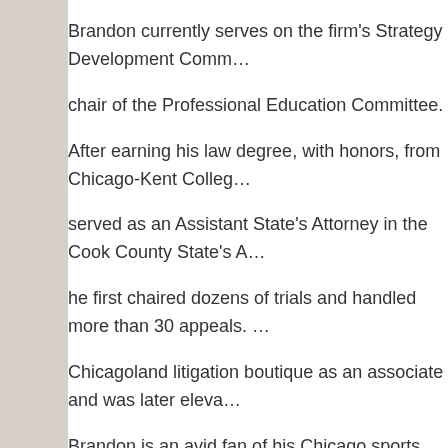Brandon currently serves on the firm's Strategy Development Comm... chair of the Professional Education Committee. After earning his law degree, with honors, from Chicago-Kent Colleg... served as an Assistant State's Attorney in the Cook County State's A... he first chaired dozens of trials and handled more than 30 appeals. ... Chicagoland litigation boutique as an associate and was later eleva... Brandon is an avid fan of his Chicago sports teams, and outside of p... may find him taking in a game, hopefully a meaningful one, with his ... children.
News & Articles